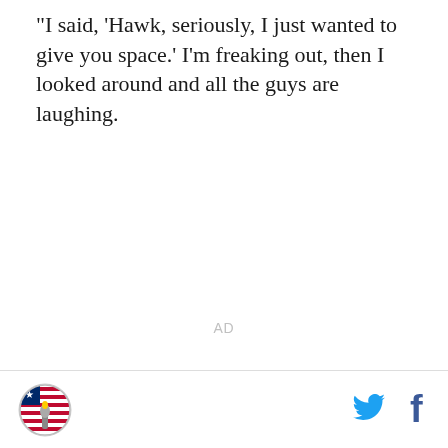“I said, ‘Hawk, seriously, I just wanted to give you space.’ I’m freaking out, then I looked around and all the guys are laughing.
AD
[Figure (logo): SB Nation circular logo with American flag and torch icon]
[Figure (logo): Twitter bird icon in blue]
[Figure (logo): Facebook f icon in dark blue]